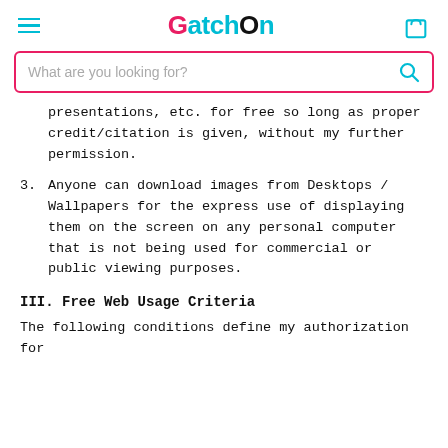GatchOn
What are you looking for?
presentations, etc. for free so long as proper credit/citation is given, without my further permission.
3. Anyone can download images from Desktops / Wallpapers for the express use of displaying them on the screen on any personal computer that is not being used for commercial or public viewing purposes.
III. Free Web Usage Criteria
The following conditions define my authorization for